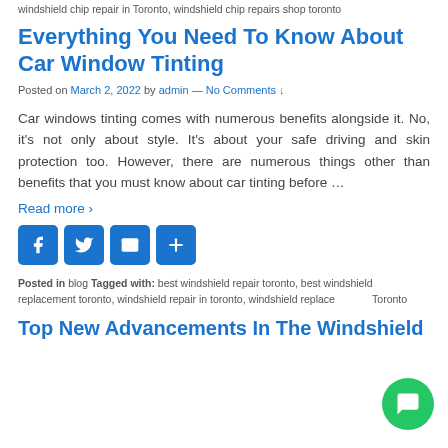windshield chip repair in Toronto, windshield chip repairs shop toronto
Everything You Need To Know About Car Window Tinting
Posted on March 2, 2022 by admin — No Comments ↓
Car windows tinting comes with numerous benefits alongside it. No, it's not only about style. It's about your safe driving and skin protection too. However, there are numerous things other than benefits that you must know about car tinting before …
Read more ›
[Figure (other): Social sharing icons: Facebook, Twitter, Email, Share]
Posted in blog Tagged with: best windshield repair toronto, best windshield replacement toronto, windshield repair in toronto, windshield replacement Toronto
Top New Advancements In The Windshield